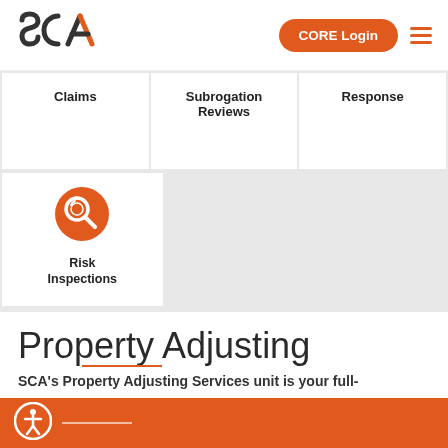[Figure (logo): SCA logo with orange triangle]
CORE Login
[Figure (illustration): Hamburger menu icon (three orange lines)]
Claims
Subrogation Reviews
Response
[Figure (illustration): Orange circle with magnifying glass icon]
Risk Inspections
Property Adjusting
[Figure (illustration): Orange accessibility icon circle]
SCA's Property Adjusting Services unit is your full-